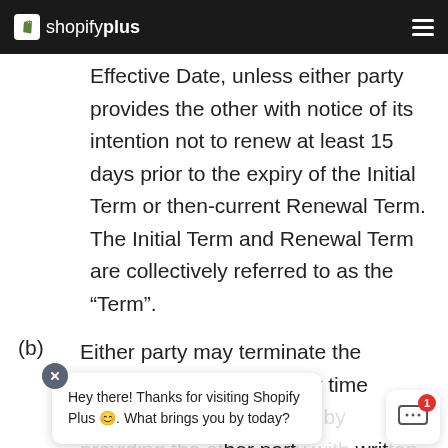shopify plus
Effective Date, unless either party provides the other with notice of its intention not to renew at least 15 days prior to the expiry of the Initial Term or then-current Renewal Term. The Initial Term and Renewal Term are collectively referred to as the “Term”.
(b) Either party may terminate the Shopify Plus Terms at any time during any Renewal Term by providing the other party with written...
Hey there! Thanks for visiting Shopify Plus 😊. What brings you by today?